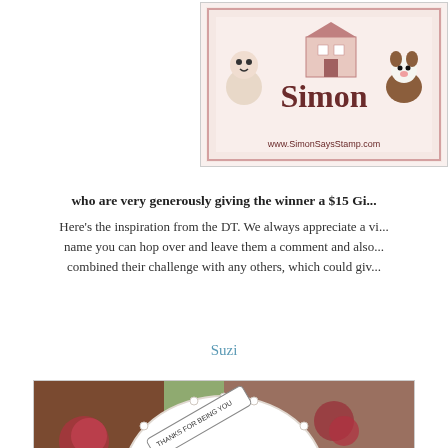[Figure (logo): Simon Says Stamp banner logo with cartoon characters and text 'Simon' and 'www.SimonSaysStamp.com']
who are very generously giving the winner a $15 Gi...
Here's the inspiration from the DT. We always appreciate a vi... name you can hop over and leave them a comment and also... combined their challenge with any others, which could giv...
Suzi
[Figure (photo): Handmade greeting card featuring a big-eyed girl illustration with 'Thanks for Being You' sentiment tag, decorated with vintage floral patterned papers and scrollwork embellishments]